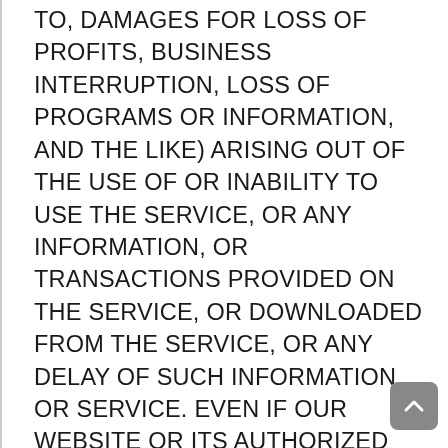TO, DAMAGES FOR LOSS OF PROFITS, BUSINESS INTERRUPTION, LOSS OF PROGRAMS OR INFORMATION, AND THE LIKE) ARISING OUT OF THE USE OF OR INABILITY TO USE THE SERVICE, OR ANY INFORMATION, OR TRANSACTIONS PROVIDED ON THE SERVICE, OR DOWNLOADED FROM THE SERVICE, OR ANY DELAY OF SUCH INFORMATION OR SERVICE. EVEN IF OUR WEBSITE OR ITS AUTHORIZED REPRESENTATIVES HAVE BEEN ADVISED OF THE POSSIBILITY OF SUCH DAMAGES, OR (II) ANY CLAIM ATTRIBUTABLE TO ERRORS, OMISSIONS, OR OTHER INACCURACIES IN THE SERVICE AND/OR MATERIALS OR INFORMATION DOWNLOADED THROUGH THE SERVICE. BECAUSE SOME STATES DO NOT ALLOW THE EXCLUSION OR LIMITATION OF LIABILITY FOR CONSEQUENTIAL OR INCIDENTAL DAMAGES, THE